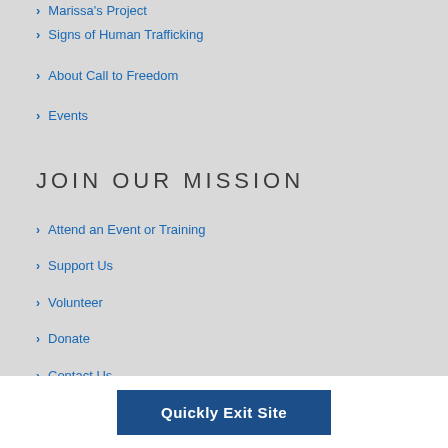Marissa's Project
Signs of Human Trafficking
About Call to Freedom
Events
JOIN OUR MISSION
Attend an Event or Training
Support Us
Volunteer
Donate
Contact Us
Quickly Exit Site